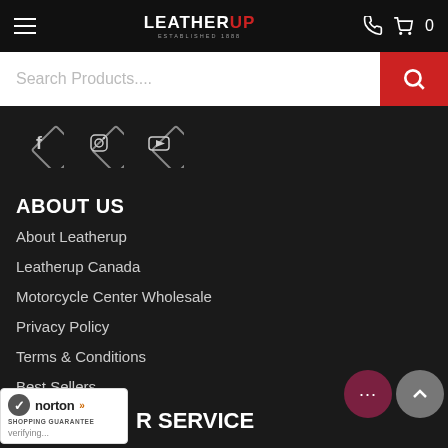LEATHERUP — ESTABLISHED 1888 — header navigation with hamburger menu, phone, cart (0)
[Figure (screenshot): Search Products.... input bar with red search button]
[Figure (other): Social media diamond icons: Facebook, Instagram, YouTube]
ABOUT US
About Leatherup
Leatherup Canada
Motorcycle Center Wholesale
Privacy Policy
Terms & Conditions
Best Sellers
New Arrivals
[Figure (logo): Norton Shopping Guarantee badge with verifying... text]
R SERVICE